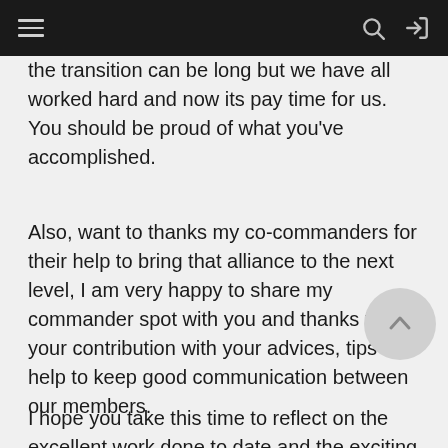≡  [search icon] [login icon]
the transition can be long but we have all worked hard and now its pay time for us. You should be proud of what you've accomplished.
Also, want to thanks my co-commanders for their help to bring that alliance to the next level, I am very happy to share my commander spot with you and thanks for your contribution with your advices, tips and help to keep good communication between our members.
I hope you take this time to reflect on the excellent work done to date and the exciting challenges that come with the New Year ahead and that you enjoy the season with family and friends.